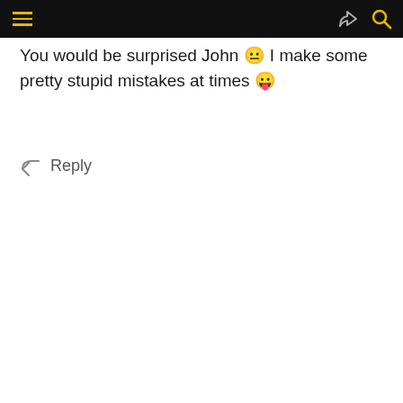[Navigation bar with hamburger menu, share icon, and search icon]
You would be surprised John 🙂 I make some pretty stupid mistakes at times 😛
Reply